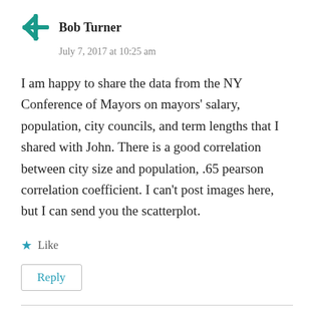Bob Turner
July 7, 2017 at 10:25 am
I am happy to share the data from the NY Conference of Mayors on mayors’ salary, population, city councils, and term lengths that I shared with John. There is a good correlation between city size and population, .65 pearson correlation coefficient. I can’t post images here, but I can send you the scatterplot.
Like
Reply
David Rockefeller